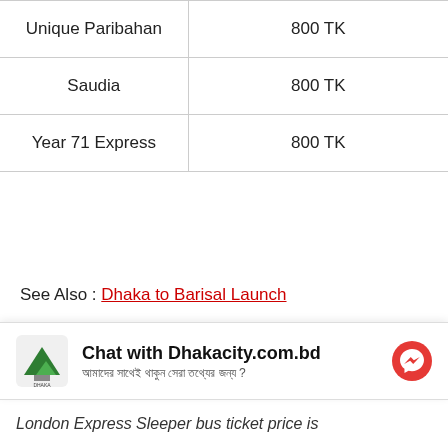|  |  |
| --- | --- |
| Unique Paribahan | 800 TK |
| Saudia | 800 TK |
| Year 71 Express | 800 TK |
See Also : Dhaka to Barisal Launch
Dhaka to cox's bazar sleeper bus ticket price:
Dhaka to Cos's Bazar sleeper bus ticket price are start from 2500 BDT to 4500 BDT, it vary on class and buses .
Chat with Dhakacity.com.bd
London Express Sleeper bus ticket price is